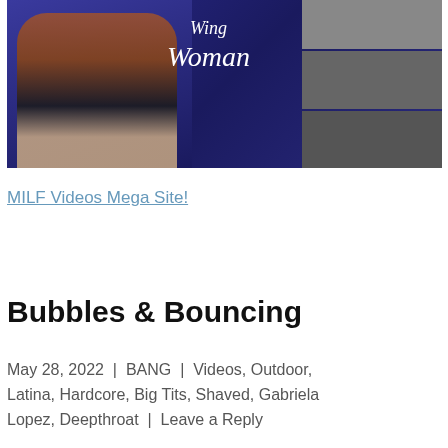[Figure (photo): Promotional image with text 'Wing Woman' overlaid on a blue background, showing a woman in a black dress on the left and three smaller photo panels on the right.]
MILF Videos Mega Site!
Bubbles & Bouncing
May 28, 2022  |  BANG  |  Videos, Outdoor, Latina, Hardcore, Big Tits, Shaved, Gabriela Lopez, Deepthroat  |  Leave a Reply